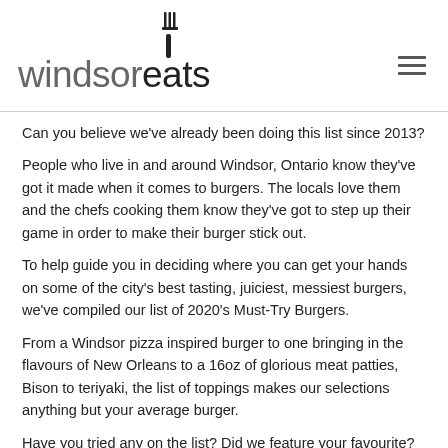windsoréats
Can you believe we've already been doing this list since 2013?
People who live in and around Windsor, Ontario know they've got it made when it comes to burgers. The locals love them and the chefs cooking them know they've got to step up their game in order to make their burger stick out.
To help guide you in deciding where you can get your hands on some of the city's best tasting, juiciest, messiest burgers, we've compiled our list of 2020's Must-Try Burgers.
From a Windsor pizza inspired burger to one bringing in the flavours of New Orleans to a 16oz of glorious meat patties, Bison to teriyaki, the list of toppings makes our selections anything but your average burger.
Have you tried any on the list? Did we feature your favourite? Did